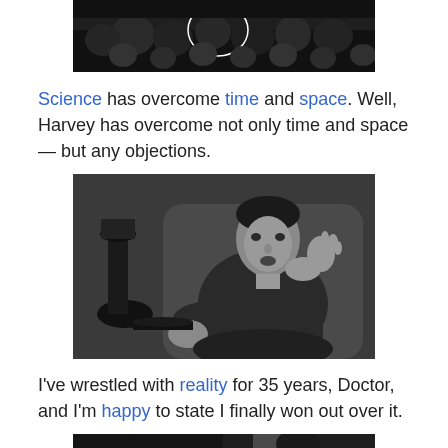[Figure (photo): Black and white photo of an audience or crowd scene, partially visible at top of page]
Science has overcome time and space. Well, Harvey has overcome not only time and space — but any objections.
[Figure (photo): Black and white photo of a man in a suit sitting in an armchair, gesturing with his hand, with a lamp visible in the background]
I've wrestled with reality for 35 years, Doctor, and I'm happy to state I finally won out over it.
[Figure (photo): Black and white photo, partially visible at bottom of page, showing a person]